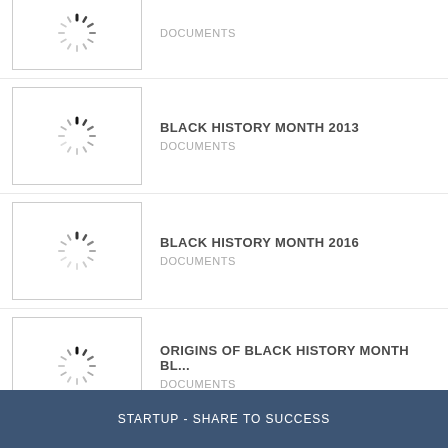DOCUMENTS
BLACK HISTORY MONTH 2013 | DOCUMENTS
BLACK HISTORY MONTH 2016 | DOCUMENTS
ORIGINS OF BLACK HISTORY MONTH BL... | DOCUMENTS
View More
STARTUP - SHARE TO SUCCESS